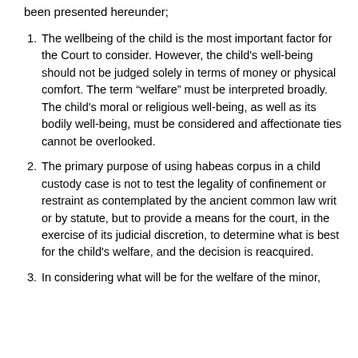been presented hereunder;
The wellbeing of the child is the most important factor for the Court to consider. However, the child's well-being should not be judged solely in terms of money or physical comfort. The term “welfare” must be interpreted broadly. The child's moral or religious well-being, as well as its bodily well-being, must be considered and affectionate ties cannot be overlooked.
The primary purpose of using habeas corpus in a child custody case is not to test the legality of confinement or restraint as contemplated by the ancient common law writ or by statute, but to provide a means for the court, in the exercise of its judicial discretion, to determine what is best for the child's welfare, and the decision is reacquired.
In considering what will be for the welfare of the minor,